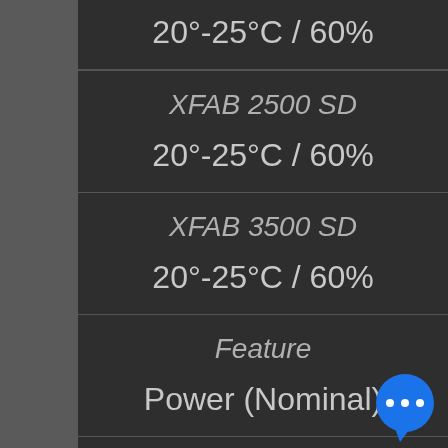| XFAB 2000 (partial) | 20°-25°C / 60% |
| XFAB 2500 SD | 20°-25°C / 60% |
| XFAB 3500 SD | 20°-25°C / 60% |
| Feature | Power (Nominal) |
| XFAB 2000 | 24V DC with AC 240/100V / 50-60 Hz external supplier included |
| XFAB 2500 SD | 24V DC with AC 240/100V / 50-60 Hz external supplier |